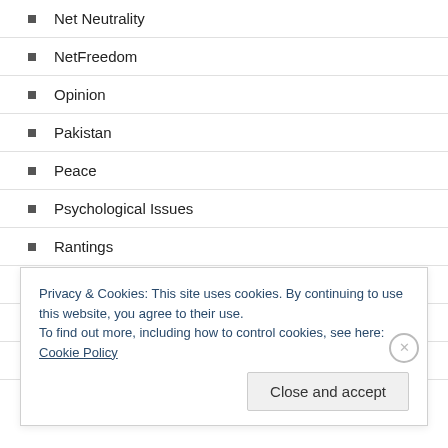Net Neutrality
NetFreedom
Opinion
Pakistan
Peace
Psychological Issues
Rantings
Romance
Saadat Hassan Manto
Security
Privacy & Cookies: This site uses cookies. By continuing to use this website, you agree to their use. To find out more, including how to control cookies, see here: Cookie Policy
Close and accept